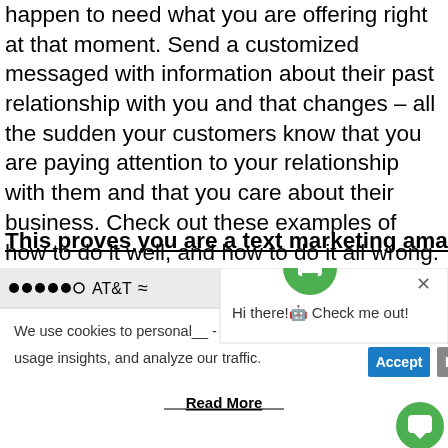happen to need what you are offering right at that moment. Send a customized messaged with information about their past relationship with you and that changes – all the sudden your customers know that you are paying attention to your relationship with them and that you care about their business. Check out these examples of how to do it well, and how to do it all wrong.
This proves you are a text marketing amateur:
[Figure (screenshot): Screenshot of a mobile browser showing AT&T signal with dots, a chatbot popup saying 'Hi there! Check me out!', a cookie consent bar saying 'We use cookies to personal... usage insights, and analyze our traffic.' with Accept and R buttons, a Read More link, and a green chat bubble icon.]